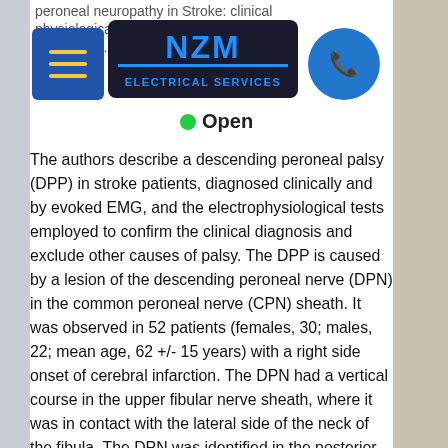peroneal neuropathy in stroke: clinical physiological tests in 52 patients.
[Figure (screenshot): NZM Electrical Services logo overlay with blue menu hamburger button, phone icon, and Open badge with green dot]
The authors describe a descending peroneal palsy (DPP) in stroke patients, diagnosed clinically and by evoked EMG, and the electrophysiological tests employed to confirm the clinical diagnosis and exclude other causes of palsy. The DPP is caused by a lesion of the descending peroneal nerve (DPN) in the common peroneal nerve (CPN) sheath. It was observed in 52 patients (females, 30; males, 22; mean age, 62 +/- 15 years) with a right side onset of cerebral infarction. The DPN had a vertical course in the upper fibular nerve sheath, where it was in contact with the lateral side of the neck of the fibula. The DPN was identified in the posterior compartment of the leg by two or three flexion contractions at the ankle. A DPN palsy was diagnosed when this examination showed hypesthesia or